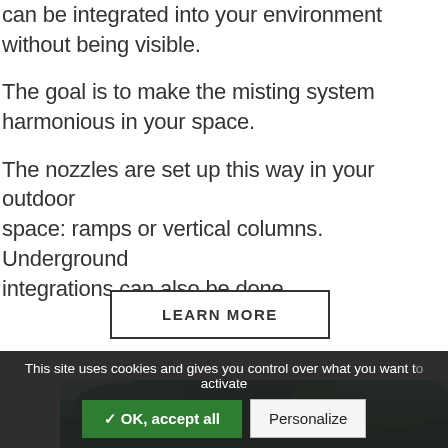can be integrated into your environment without being visible.

The goal is to make the misting system harmonious in your space.

The nozzles are set up this way in your outdoor space: ramps or vertical columns. Underground integrations can also be done.
LEARN MORE
[Figure (photo): Outdoor scene with trees and sky visible, partial view of a misting system installation.]
This site uses cookies and gives you control over what you want to activate
✓ OK, accept all
Personalize